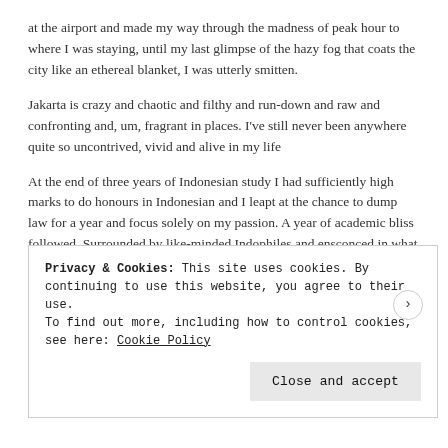at the airport and made my way through the madness of peak hour to where I was staying, until my last glimpse of the hazy fog that coats the city like an ethereal blanket, I was utterly smitten.
Jakarta is crazy and chaotic and filthy and run-down and raw and confronting and, um, fragrant in places. I've still never been anywhere quite so uncontrived, vivid and alive in my life
At the end of three years of Indonesian study I had sufficiently high marks to do honours in Indonesian and I leapt at the chance to dump law for a year and focus solely on my passion. A year of academic bliss followed. Surrounded by like-minded Indophiles and ensconced in what was, at the time, one of the world's leading
Privacy & Cookies: This site uses cookies. By continuing to use this website, you agree to their use.
To find out more, including how to control cookies, see here: Cookie Policy
Close and accept